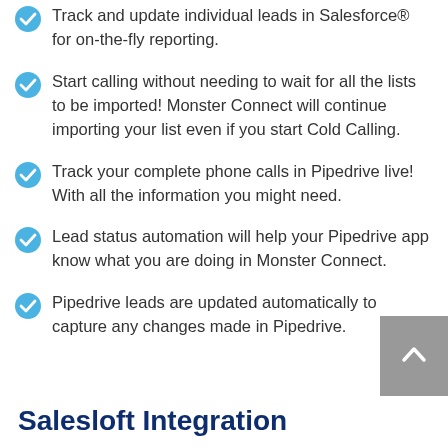Track and update individual leads in Salesforce® for on-the-fly reporting.
Start calling without needing to wait for all the lists to be imported! Monster Connect will continue importing your list even if you start Cold Calling.
Track your complete phone calls in Pipedrive live! With all the information you might need.
Lead status automation will help your Pipedrive app know what you are doing in Monster Connect.
Pipedrive leads are updated automatically to capture any changes made in Pipedrive.
Salesloft Integration